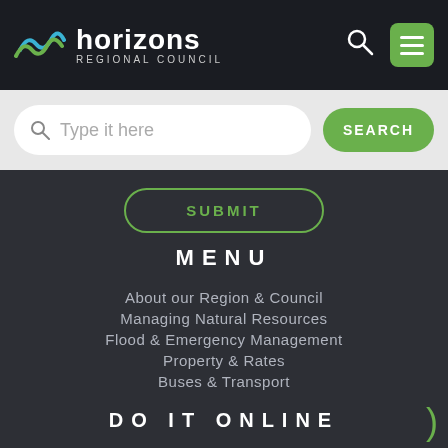horizons REGIONAL COUNCIL
Type it here
SEARCH
SUBMIT
MENU
About our Region & Council
Managing Natural Resources
Flood & Emergency Management
Property & Rates
Buses & Transport
Publications & Feedback
DO IT ONLINE